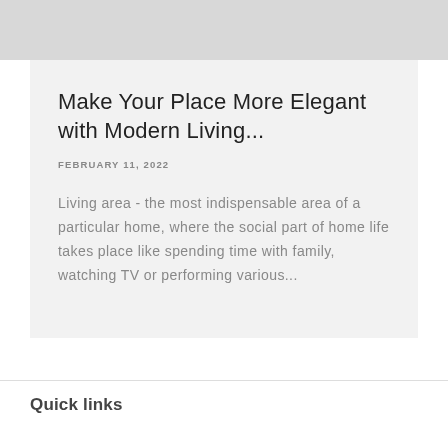Make Your Place More Elegant with Modern Living...
FEBRUARY 11, 2022
Living area - the most indispensable area of a particular home, where the social part of home life takes place like spending time with family, watching TV or performing various...
Quick links